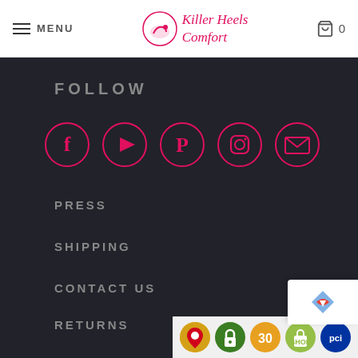MENU | Killer Heels Comfort | Cart 0
FOLLOW
[Figure (infographic): Row of 5 social media icons in pink circles: Facebook, YouTube, Pinterest, Instagram, Email]
PRESS
SHIPPING
CONTACT US
RETURNS
PRIVACY
[Figure (infographic): Bottom bar with browser security badges: Google Maps pin, green lock, 30-day badge, Shopify bag, PCI badge. reCAPTCHA logo overlay.]